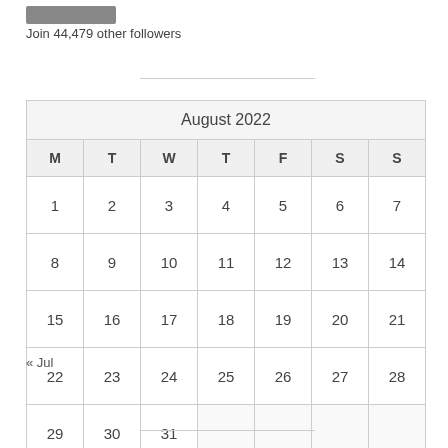[Figure (other): Follow button (grey rectangle)]
Join 44,479 other followers
| M | T | W | T | F | S | S |
| --- | --- | --- | --- | --- | --- | --- |
| 1 | 2 | 3 | 4 | 5 | 6 | 7 |
| 8 | 9 | 10 | 11 | 12 | 13 | 14 |
| 15 | 16 | 17 | 18 | 19 | 20 | 21 |
| 22 | 23 | 24 | 25 | 26 | 27 | 28 |
| 29 | 30 | 31 |  |  |  |  |
« Jul